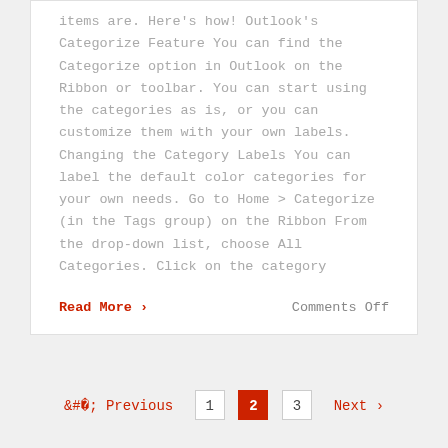items are. Here's how! Outlook's Categorize Feature You can find the Categorize option in Outlook on the Ribbon or toolbar. You can start using the categories as is, or you can customize them with your own labels. Changing the Category Labels You can label the default color categories for your own needs. Go to Home > Categorize (in the Tags group) on the Ribbon From the drop-down list, choose All Categories. Click on the category
Read More ›
Comments Off
‹ Previous  1  2  3  Next ›